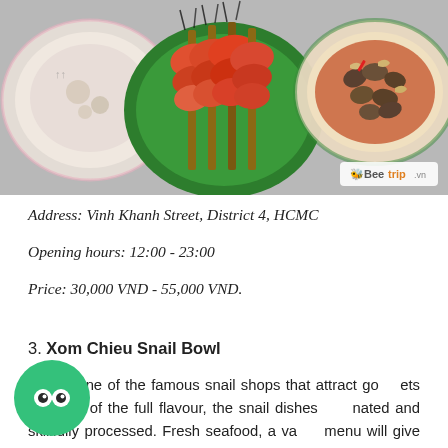[Figure (photo): Food photo showing seafood dishes: shrimp skewers on green plate in center, snail/shellfish dish on right, and another dish on left. Beetrip.vn watermark in bottom right.]
Address: Vinh Khanh Street, District 4, HCMC
Opening hours: 12:00 - 23:00
Price: 30,000 VND - 55,000 VND.
3. Xom Chieu Snail Bowl
This is one of the famous snail shops that attract gourmets because of the full flavour, the snail dishes are marinated and skillfully processed. Fresh seafood, a varied menu will give you many choices for your night party